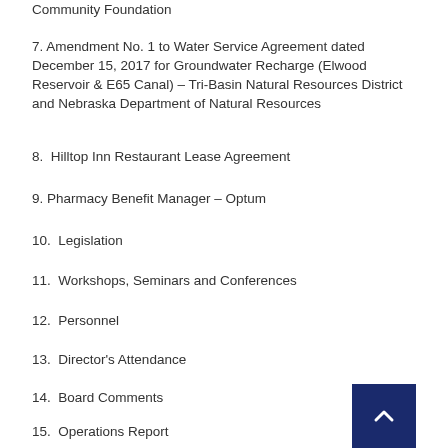Community Foundation
7. Amendment No. 1 to Water Service Agreement dated December 15, 2017 for Groundwater Recharge (Elwood Reservoir & E65 Canal) – Tri-Basin Natural Resources District and Nebraska Department of Natural Resources
8.  Hilltop Inn Restaurant Lease Agreement
9. Pharmacy Benefit Manager – Optum
10.  Legislation
11.  Workshops, Seminars and Conferences
12.  Personnel
13.  Director's Attendance
14.  Board Comments
15.  Operations Report